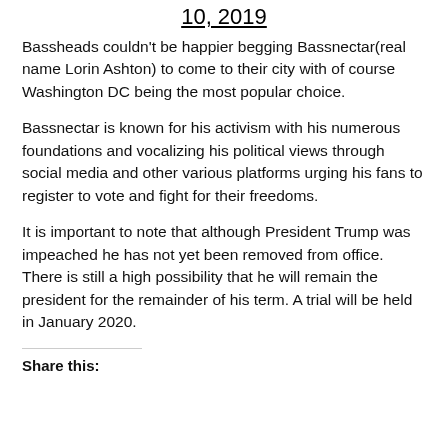10, 2019
Bassheads couldn't be happier begging Bassnectar(real name Lorin Ashton) to come to their city with of course Washington DC being the most popular choice.
Bassnectar is known for his activism with his numerous foundations and vocalizing his political views through social media and other various platforms urging his fans to register to vote and fight for their freedoms.
It is important to note that although President Trump was impeached he has not yet been removed from office. There is still a high possibility that he will remain the president for the remainder of his term. A trial will be held in January 2020.
Share this: